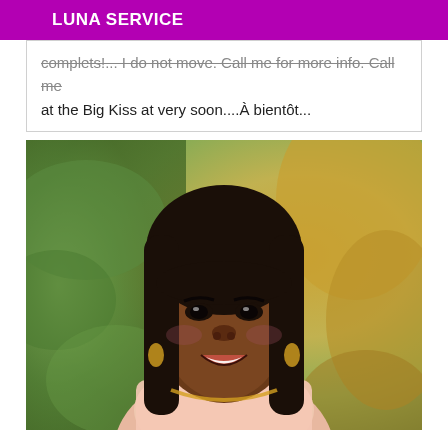LUNA SERVICE
complets!... I do not move. Call me for more info. Call me at the Big Kiss at very soon....À bientôt...
[Figure (photo): Portrait photo of a young woman with long straight dark hair with bangs, smiling, wearing gold jewelry and a light pink top, with a blurred outdoor background of green and yellow-orange foliage.]